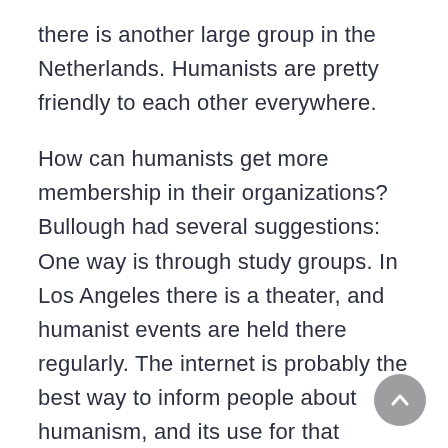there is another large group in the Netherlands. Humanists are pretty friendly to each other everywhere.
How can humanists get more membership in their organizations? Bullough had several suggestions: One way is through study groups. In Los Angeles there is a theater, and humanist events are held there regularly. The internet is probably the best way to inform people about humanism, and its use for that purpose is the coming thing. Special groups centered on particular interests can be formed, for instance, single groups, gay groups, and retired people. Chapters can hold special conferences in their areas on a particular topic